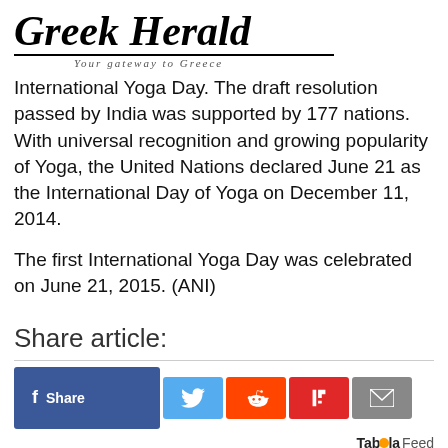Greek Herald — Your gateway to Greece
International Yoga Day. The draft resolution passed by India was supported by 177 nations. With universal recognition and growing popularity of Yoga, the United Nations declared June 21 as the International Day of Yoga on December 11, 2014.
The first International Yoga Day was celebrated on June 21, 2015. (ANI)
Share article:
[Figure (infographic): Social share buttons: Facebook Share, Twitter, Reddit, Flipboard, Email]
Taboola Feed
[Figure (photo): Close-up photo of a person's face, partially visible, appearing to be in a meditative or yoga pose]